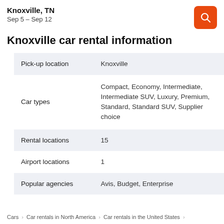Knoxville, TN
Sep 5 – Sep 12
Knoxville car rental information
|  |  |
| --- | --- |
| Pick-up location | Knoxville |
| Car types | Compact, Economy, Intermediate, Intermediate SUV, Luxury, Premium, Standard, Standard SUV, Supplier choice |
| Rental locations | 15 |
| Airport locations | 1 |
| Popular agencies | Avis, Budget, Enterprise |
Cars  >  Car rentals in North America  >  Car rentals in the United States  >